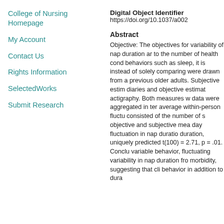College of Nursing Homepage
My Account
Contact Us
Rights Information
SelectedWorks
Submit Research
Digital Object Identifier
https://doi.org/10.1037/a002
Abstract
Objective: The objectives for variability of nap duration ar to the number of health cond behaviors such as sleep, it is instead of solely comparing were drawn from a previous older adults. Subjective estim diaries and objective estimat actigraphy. Both measures w data were aggregated in ter average within-person fluctu consisted of the number of s objective and subjective mea day fluctuation in nap duratio duration, uniquely predicted t(100) = 2.71, p = .01. Conclu variable behavior, fluctuating variability in nap duration fr morbidity, suggesting that cli behavior in addition to dura